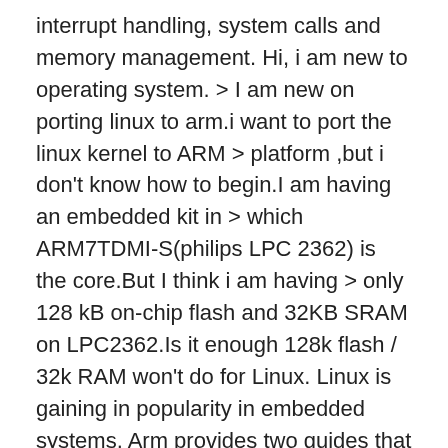interrupt handling, system calls and memory management. Hi, i am new to operating system. > I am new on porting linux to arm.i want to port the linux kernel to ARM > platform ,but i don't know how to begin.I am having an embedded kit in > which ARM7TDMI-S(philips LPC 2362) is the core.But I think i am having > only 128 kB on-chip flash and 32KB SRAM on LPC2362.Is it enough 128k flash / 32k RAM won't do for Linux. Linux is gaining in popularity in embedded systems. Arm provides two guides that describe how to port and optimize your application for Arm, in the context of High Performance Computing (HPC). Under this light, I am increasingly interested in how can a particular kernel be ported into an ARM â¦ Linux update requirements. Linux Source code is modified as per the requirement and required peripheral â¦ finding a JVM porting to